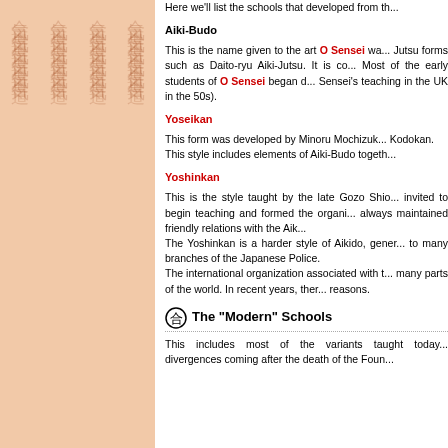[Figure (illustration): Left panel with peach/tan background featuring repeating kanji characters for Aikido in faded reddish-brown, arranged in vertical columns]
Here we'll list the schools that developed from th...
Aiki-Budo
This is the name given to the art O Sensei wa... Jutsu forms such as Daito-ryu Aiki-Jutsu. It is co... Most of the early students of O Sensei began d... Sensei's teaching in the UK in the 50s).
Yoseikan
This form was developed by Minoru Mochizuk... Kodokan.
This style includes elements of Aiki-Budo togeth...
Yoshinkan
This is the style taught by the late Gozo Shio... invited to begin teaching and formed the organi... always maintained friendly relations with the Aik... The Yoshinkan is a harder style of Aikido, gener... to many branches of the Japanese Police.
The international organization associated with t... many parts of the world. In recent years, ther... reasons.
The "Modern" Schools
This includes most of the variants taught today... divergences coming after the death of the Foun...